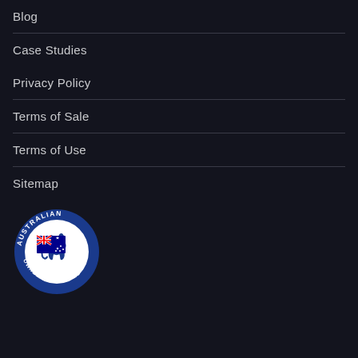Blog
Case Studies
Privacy Policy
Terms of Sale
Terms of Use
Sitemap
[Figure (logo): Australian Owned & Operated circular badge with kangaroo and Australian flag]